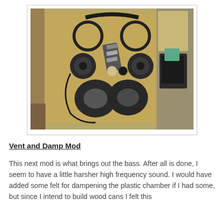[Figure (photo): Overhead photo of disassembled headphone parts laid out on a burlap/cardboard surface on a table: headphone band with ear cups separated, foam ear pads (donut-shaped), driver units, small circular pieces, and a multi-tool/knife. A partial view of room furniture and boxes visible in the background.]
Vent and Damp Mod
This next mod is what brings out the bass. After all is done, I seem to have a little harsher high frequency sound. I would have added some felt for dampening the plastic chamber if I had some, but since I intend to build wood cans I felt this